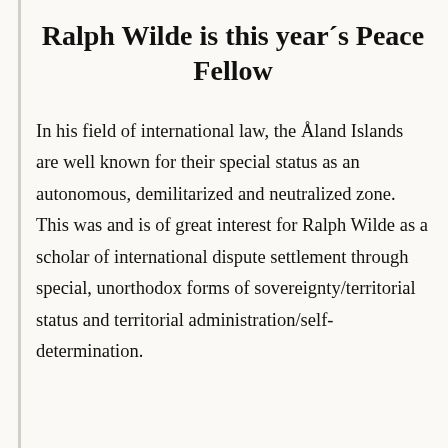Ralph Wilde is this year´s Peace Fellow
In his field of international law, the Åland Islands are well known for their special status as an autonomous, demilitarized and neutralized zone. This was and is of great interest for Ralph Wilde as a scholar of international dispute settlement through special, unorthodox forms of sovereignty/territorial status and territorial administration/self-determination.